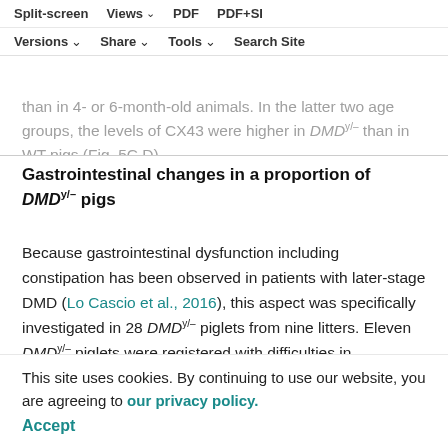Split-screen  Views  PDF  PDF+SI  Versions  Share  Tools  Search Site
than in 4- or 6-month-old animals. In the latter two age groups, the levels of CX43 were higher in DMD y/– than in WT pigs (Fig. 5C,D).
Gastrointestinal changes in a proportion of DMD y/– pigs
Because gastrointestinal dysfunction including constipation has been observed in patients with later-stage DMD (Lo Cascio et al., 2016), this aspect was specifically investigated in 28 DMD y/– piglets from nine litters. Eleven DMD y/– piglets were registered with difficulties in defecation (repeated strain to eliminate feces), increasing abdominal girth, anorexia, or abdominal edema and ascites (detected by ultrasound scan) within the first weeks of life. At necropsy, animals euthanized after suffering either one or more of the described conditions revealed accumulation of gas and intestate in the intestines.
This site uses cookies. By continuing to use our website, you are agreeing to our privacy policy. Accept